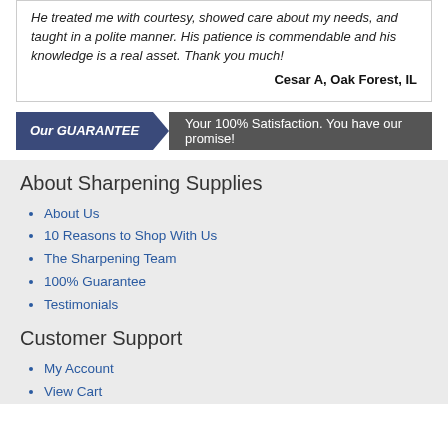He treated me with courtesy, showed care about my needs, and taught in a polite manner. His patience is commendable and his knowledge is a real asset. Thank you much!
Cesar A, Oak Forest, IL
[Figure (infographic): Our GUARANTEE banner: blue left section with italic bold text 'Our GUARANTEE' with an arrow pointing right into dark gray section reading 'Your 100% Satisfaction. You have our promise!']
About Sharpening Supplies
About Us
10 Reasons to Shop With Us
The Sharpening Team
100% Guarantee
Testimonials
Customer Support
My Account
View Cart